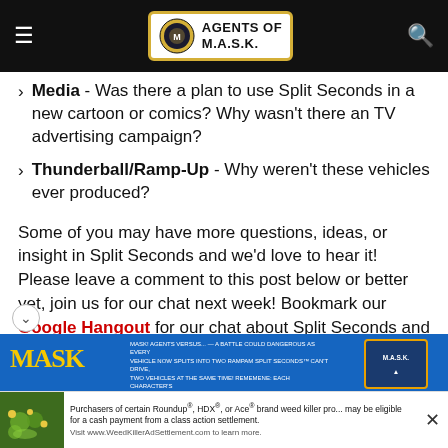Agents of M.A.S.K.
Media - Was there a plan to use Split Seconds in a new cartoon or comics? Why wasn't there an TV advertising campaign?
Thunderball/Ramp-Up - Why weren't these vehicles ever produced?
Some of you may have more questions, ideas, or insight in Split Seconds and we'd love to hear it! Please leave a comment to this post below or better yet, join us for our chat next week! Bookmark our Google Hangout for our chat about Split Seconds and join us next Tuesday night, June 30.
In the meantime, check out this promo poster for a little inspiration (click images to enlarge) and be sure to leave your thoughts for our discussion!
[Figure (photo): Partial view of a MASK promo poster with blue background and text, showing partial MASK logo and a badge/box on the right side.]
Purchasers of certain Roundup®, HDX®, or Ace® brand weed killer products may be eligible for a cash payment from a class action settlement. Visit www.WeedKillerAdSettlement.com to learn more.